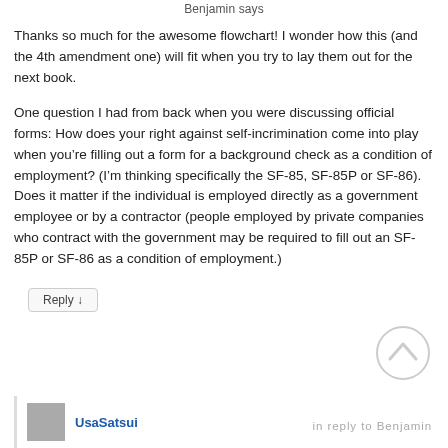Benjamin says
Thanks so much for the awesome flowchart! I wonder how this (and the 4th amendment one) will fit when you try to lay them out for the next book.
One question I had from back when you were discussing official forms: How does your right against self-incrimination come into play when you’re filling out a form for a background check as a condition of employment? (I’m thinking specifically the SF-85, SF-85P or SF-86). Does it matter if the individual is employed directly as a government employee or by a contractor (people employed by private companies who contract with the government may be required to fill out an SF-85P or SF-86 as a condition of employment.)
Reply ↓
UsaSatsui
in reply to Benjamin